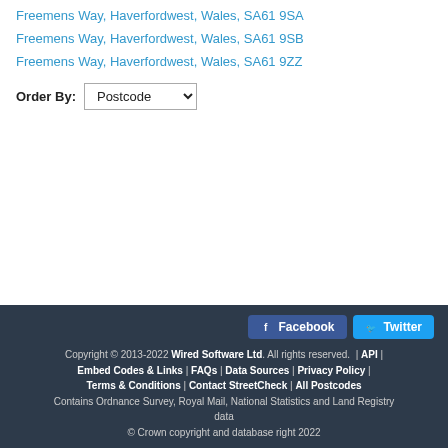Freemens Way, Haverfordwest, Wales, SA61 9SA
Freemens Way, Haverfordwest, Wales, SA61 9SB
Freemens Way, Haverfordwest, Wales, SA61 9ZZ
Order By: Postcode
Facebook | Twitter | Copyright © 2013-2022 Wired Software Ltd. All rights reserved. | API | Embed Codes & Links | FAQs | Data Sources | Privacy Policy | Terms & Conditions | Contact StreetCheck | All Postcodes | Contains Ordnance Survey, Royal Mail, National Statistics and Land Registry data | © Crown copyright and database right 2022